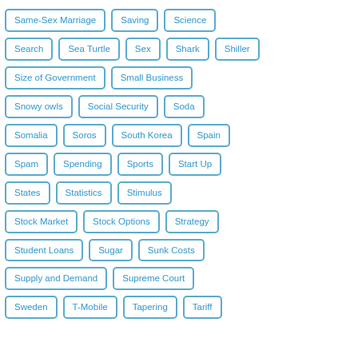Same-Sex Marriage
Saving
Science
Search
Sea Turtle
Sex
Shark
Shiller
Size of Government
Small Business
Snowy owls
Social Security
Soda
Somalia
Soros
South Korea
Spain
Spam
Spending
Sports
Start Up
States
Statistics
Stimulus
Stock Market
Stock Options
Strategy
Student Loans
Sugar
Sunk Costs
Supply and Demand
Supreme Court
Sweden
T-Mobile
Tapering
Tariff